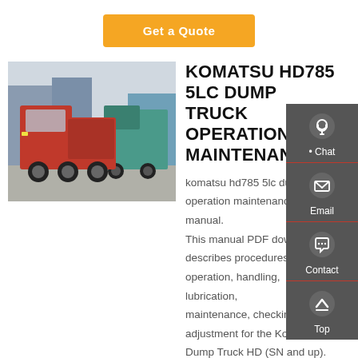Get a Quote
[Figure (photo): Red dump trucks parked in a lot with industrial buildings in the background]
KOMATSU HD785 5LC DUMP TRUCK OPERATION MAINTENANCE
komatsu hd785 5lc dump truck operation maintenance manual. This manual PDF download describes procedures for operation, handling, lubrication, maintenance, checking, and adjustment for the Komatsu Dump Truck HD (SN and up). It